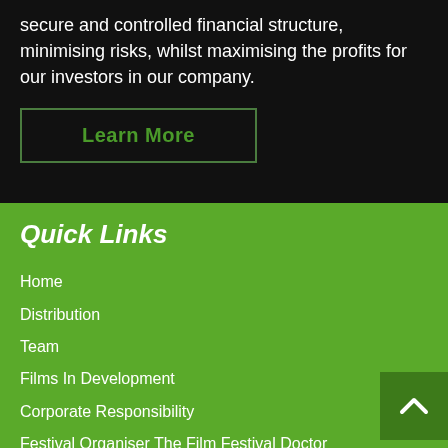secure and controlled financial structure, minimising risks, whilst maximising the profits for our investors in our company.
Learn More
Quick Links
Home
Distribution
Team
Films In Development
Corporate Responsibility
Festival Organiser The Film Festival Doctor
Opening Hours